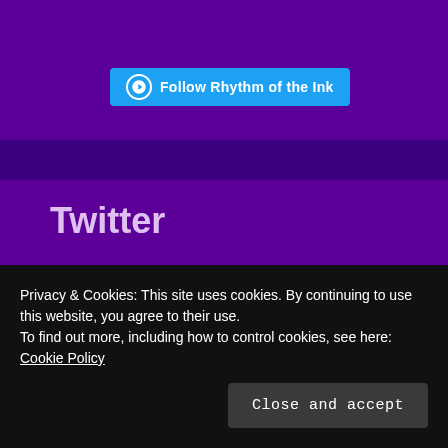[Figure (screenshot): WordPress Follow button with WordPress logo icon, styled in blue, labeled 'Follow Rhythm of the Ink']
Twitter
My Tweets
Privacy & Cookies: This site uses cookies. By continuing to use this website, you agree to their use.
To find out more, including how to control cookies, see here: Cookie Policy
Close and accept